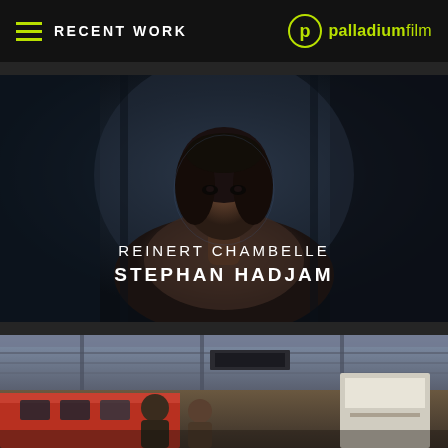RECENT WORK — palladiumfilm
[Figure (photo): Dark cinematic film still showing a woman's face and bare shoulders against a dark background, with text overlay reading REINERT CHAMBELLE / STEPHAN HADJAM]
REINERT CHAMBELLE STEPHAN HADJAM
[Figure (photo): Film still showing two people in an industrial or station setting, partially visible at bottom of page]